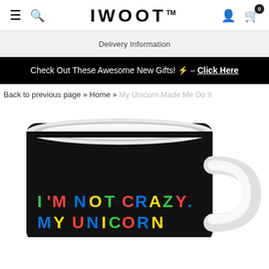IWOOT™ — hamburger menu, search, user icon, cart (0)
Delivery Information
Check Out These Awesome New Gifts! ⚡ – Click Here
Back to previous page » Home » My Unicorn Made Me Do It...
[Figure (photo): A black ceramic mug with colorful bold text reading "I'M NOT CRAZY. MY UNICORN..." (partially visible). The mug has a white interior, white handle, and multicolored (green, red, blue, yellow) block letters on a black background.]